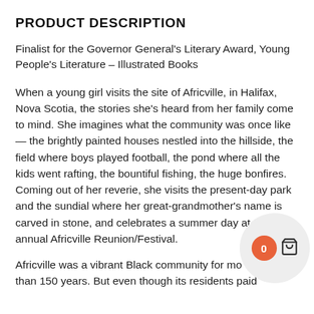PRODUCT DESCRIPTION
Finalist for the Governor General's Literary Award, Young People's Literature – Illustrated Books
When a young girl visits the site of Africville, in Halifax, Nova Scotia, the stories she's heard from her family come to mind. She imagines what the community was once like — the brightly painted houses nestled into the hillside, the field where boys played football, the pond where all the kids went rafting, the bountiful fishing, the huge bonfires. Coming out of her reverie, she visits the present-day park and the sundial where her great-grandmother's name is carved in stone, and celebrates a summer day at the annual Africville Reunion/Festival.
Africville was a vibrant Black community for more than 150 years. But even though its residents paid